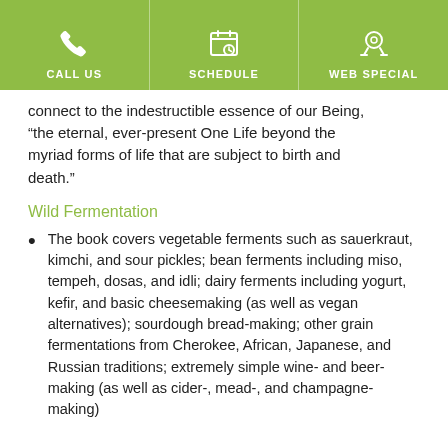CALL US | SCHEDULE | WEB SPECIAL
connect to the indestructible essence of our Being, “the eternal, ever-present One Life beyond the myriad forms of life that are subject to birth and death.”
Wild Fermentation
The book covers vegetable ferments such as sauerkraut, kimchi, and sour pickles; bean ferments including miso, tempeh, dosas, and idli; dairy ferments including yogurt, kefir, and basic cheesemaking (as well as vegan alternatives); sourdough bread-making; other grain fermentations from Cherokee, African, Japanese, and Russian traditions; extremely simple wine- and beer-making (as well as cider-, mead-, and champagne-making)